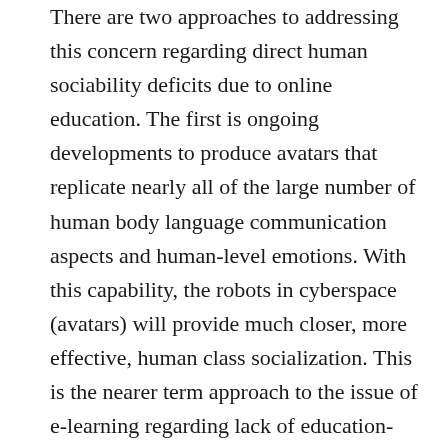There are two approaches to addressing this concern regarding direct human sociability deficits due to online education. The first is ongoing developments to produce avatars that replicate nearly all of the large number of human body language communication aspects and human-level emotions. With this capability, the robots in cyberspace (avatars) will provide much closer, more effective, human class socialization. This is the nearer term approach to the issue of e-learning regarding lack of education-provided human-level socialization.
In the second strategic approach, as AI improves, tele-everything pervades societal interactions. This produces an ongoing, increasing competitive need to be skilled in human–machine interactions, which tele-education can